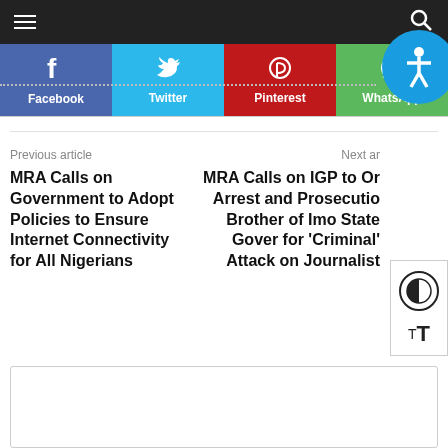Navigation bar with hamburger menu and search icon
[Figure (infographic): Social sharing bar with Facebook, Twitter, Pinterest, WhatsApp buttons and accessibility icon badge]
Previous article
MRA Calls on Government to Adopt Policies to Ensure Internet Connectivity for All Nigerians
Next ar...
MRA Calls on IGP to Order Arrest and Prosecution of Brother of Imo State Governor for 'Criminal' Attack on Journalist